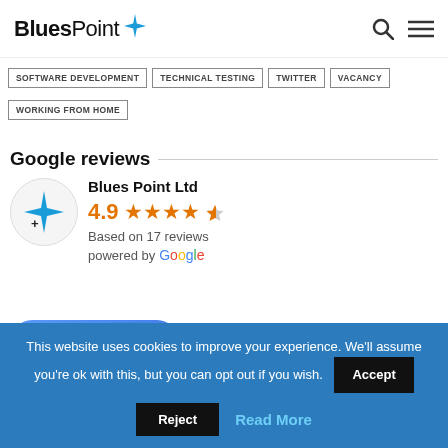Blues Point [logo with star]
SOFTWARE DEVELOPMENT | TECHNICAL TESTING | TWITTER | VACANCY
WORKING FROM HOME
Google reviews
[Figure (logo): Blues Point Ltd logo - blue 4-pointed star with plus sign]
Blues Point Ltd
4.9 ★★★★½
Based on 17 reviews
powered by Google
review us on G
This website uses cookies to improve your experience. We'll assume you're ok with this, but you can opt out if you wish.
Accept
Reject
Read More